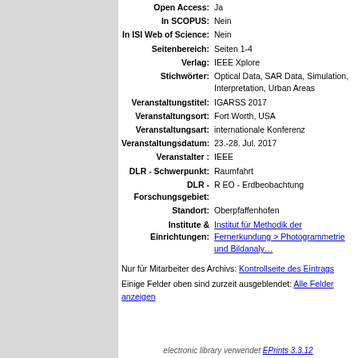| Field | Value |
| --- | --- |
| Open Access: | Ja |
| In SCOPUS: | Nein |
| In ISI Web of Science: | Nein |
| Seitenbereich: | Seiten 1-4 |
| Verlag: | IEEE Xplore |
| Stichwörter: | Optical Data, SAR Data, Simulation, Interpretation, Urban Areas |
| Veranstaltungstitel: | IGARSS 2017 |
| Veranstaltungsort: | Fort Worth, USA |
| Veranstaltungsart: | internationale Konferenz |
| Veranstaltungsdatum: | 23.-28. Jul. 2017 |
| Veranstalter : | IEEE |
| DLR - Schwerpunkt: | Raumfahrt |
| DLR - Forschungsgebiet: | R EO - Erdbeobachtung |
| Standort: | Oberpfaffenhofen |
| Institute & Einrichtungen: | Institut für Methodik der Fernerkundung > Photogrammetrie und Bildanalyse |
Nur für Mitarbeiter des Archivs: Kontrollseite des Eintrags
Einige Felder oben sind zurzeit ausgeblendet: Alle Felder anzeigen
electronic library verwendet EPrints 3.3.12